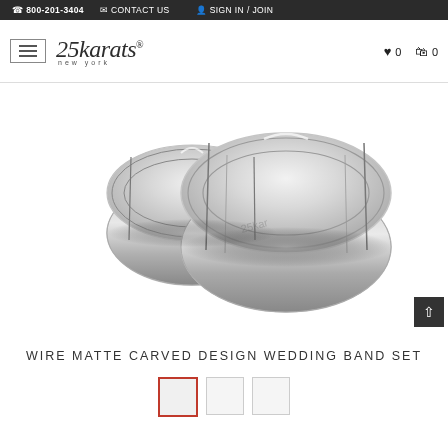800-201-3404  CONTACT US  SIGN IN / JOIN
[Figure (logo): 25karats new york logo with hamburger menu icon, heart icon with 0 count, and shopping bag icon with 0 count]
[Figure (photo): Two silver wire matte carved design wedding bands displayed together — one smaller (women's) and one larger (men's), both with grooved matte center and polished edges, with watermark '25karats' visible]
WIRE MATTE CARVED DESIGN WEDDING BAND SET
[Figure (photo): Three small product thumbnail boxes at bottom — first with red border (active), second and third plain]